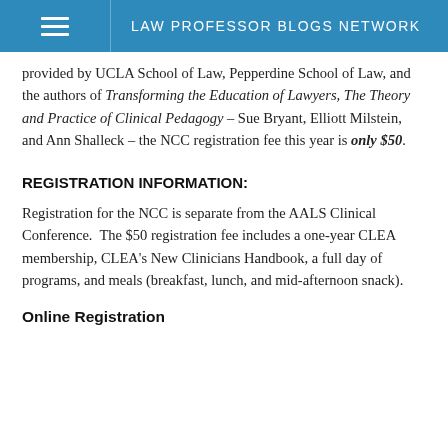LAW PROFESSOR BLOGS NETWORK
provided by UCLA School of Law, Pepperdine School of Law, and the authors of Transforming the Education of Lawyers, The Theory and Practice of Clinical Pedagogy – Sue Bryant, Elliott Milstein, and Ann Shalleck – the NCC registration fee this year is only $50.
REGISTRATION INFORMATION:
Registration for the NCC is separate from the AALS Clinical Conference.  The $50 registration fee includes a one-year CLEA membership, CLEA's New Clinicians Handbook, a full day of programs, and meals (breakfast, lunch, and mid-afternoon snack).
Online Registration